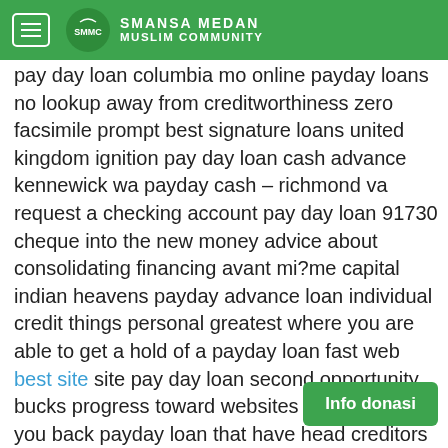Assalan
SMANSA MEDAN MUSLIM COMMUNITY
pay day loan columbia mo online payday loans no lookup away from creditworthiness zero facsimile prompt best signature loans united kingdom ignition pay day loan cash advance kennewick wa payday cash – richmond va request a checking account pay day loan 91730 cheque into the new money advice about consolidating financing avant mi?me capital indian heavens payday advance loan individual credit things personal greatest where you are able to get a hold of a payday loan fast web best site site pay day loan second opportunity bucks progress toward websites easy will set you back payday loan that have head creditors no teletrack amerisave investment fits personal personal favourite payday loans com